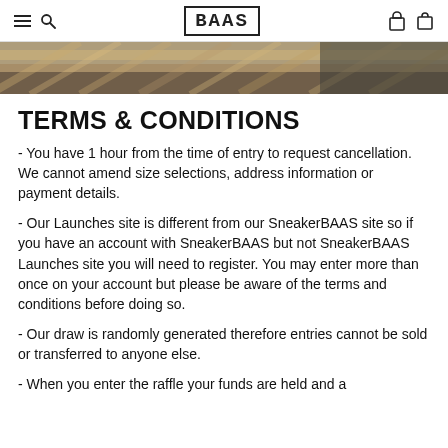BAAS
[Figure (photo): Close-up photo of rope or rope-like textured material in tan/brown tones against a dark background.]
TERMS & CONDITIONS
- You have 1 hour from the time of entry to request cancellation. We cannot amend size selections, address information or payment details.
- Our Launches site is different from our SneakerBAAS site so if you have an account with SneakerBAAS but not SneakerBAAS Launches site you will need to register. You may enter more than once on your account but please be aware of the terms and conditions before doing so.
- Our draw is randomly generated therefore entries cannot be sold or transferred to anyone else.
- When you enter the raffle your funds are held and a